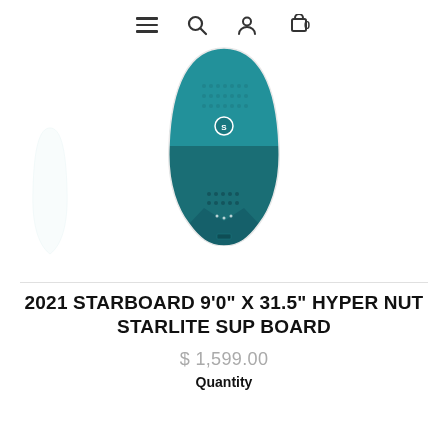≡ 🔍 👤 🛒 0
[Figure (photo): Top-down view of a teal/dark teal Starboard Hyper Nut SUP board showing tail section with fins, traction pad dots, and Starboard logo. A smaller lighter/white thumbnail of the full board is visible to the lower left.]
2021 STARBOARD 9'0" X 31.5" HYPER NUT STARLITE SUP BOARD
$ 1,599.00
Quantity